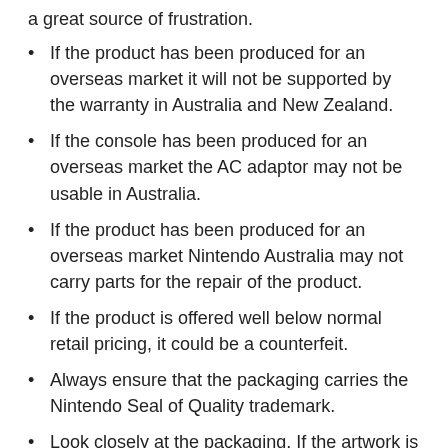a great source of frustration.
If the product has been produced for an overseas market it will not be supported by the warranty in Australia and New Zealand.
If the console has been produced for an overseas market the AC adaptor may not be usable in Australia.
If the product has been produced for an overseas market Nintendo Australia may not carry parts for the repair of the product.
If the product is offered well below normal retail pricing, it could be a counterfeit.
Always ensure that the packaging carries the Nintendo Seal of Quality trademark.
Look closely at the packaging. If the artwork is of poor quality, faded, discoloured or distorted, the